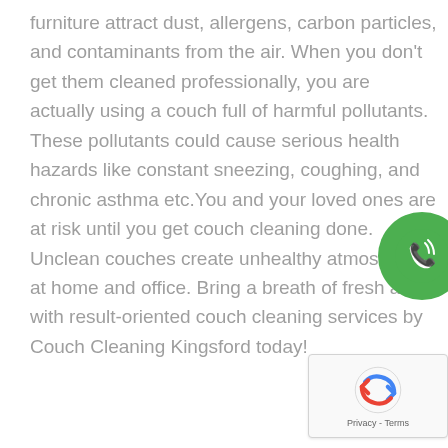furniture attract dust, allergens, carbon particles, and contaminants from the air. When you don't get them cleaned professionally, you are actually using a couch full of harmful pollutants. These pollutants could cause serious health hazards like constant sneezing, coughing, and chronic asthma etc.You and your loved ones are at risk until you get couch cleaning done. Unclean couches create unhealthy atmosphere at home and office. Bring a breath of fresh air with result-oriented couch cleaning services by Couch Cleaning Kingsford today!
[Figure (other): Green circular phone/call button with phone icon and signal waves]
[Figure (other): Google reCAPTCHA widget showing the reCAPTCHA logo and Privacy - Terms text]